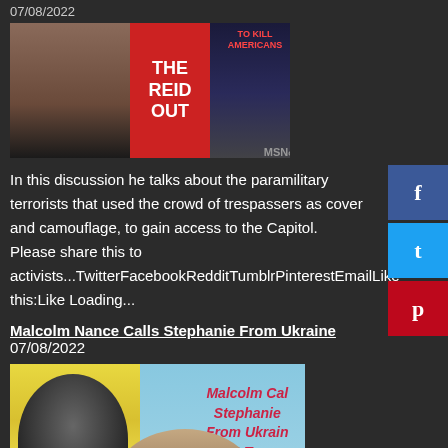07/08/2022
[Figure (photo): Photo of a Black woman smiling, next to two book covers: 'The Reid Out' in red and white, and a book about killing Americans, with MSNBC logo visible]
In this discussion he talks about the paramilitary terrorists that used the crowd of trespassers as cover and camouflage, to gain access to the Capitol. Please share this to activists...TwitterFacebookRedditTumblrPinterestEmailLike this:Like Loading...
Malcolm Nance Calls Stephanie From Ukraine 07/08/2022
[Figure (photo): Promotional image with yellow background and pigeon on left, text 'Malcolm Calls Stephanie From Ukraine About Trumps Civil War' in red italic, woman smiling in green, Ukrainian flag in bottom right]
Malcolm Nance Calls Stephanie Miller From Ukraine -Talks About US Neo-Fascist Civil War Please share this to